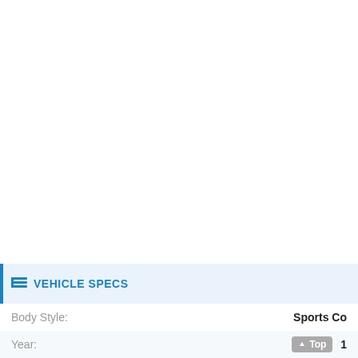VEHICLE SPECS
| Field | Value |
| --- | --- |
| Body Style: | Sports Co… |
| Year: | 1… |